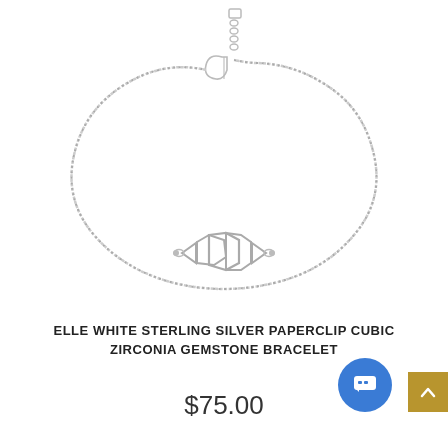[Figure (photo): Silver bracelet with a paperclip-style geometric linked centerpiece and box chain, shown with lobster clasp and extension chain. Product photo on white background.]
ELLE WHITE STERLING SILVER PAPERCLIP CUBIC ZIRCONIA GEMSTONE BRACELET
$75.00